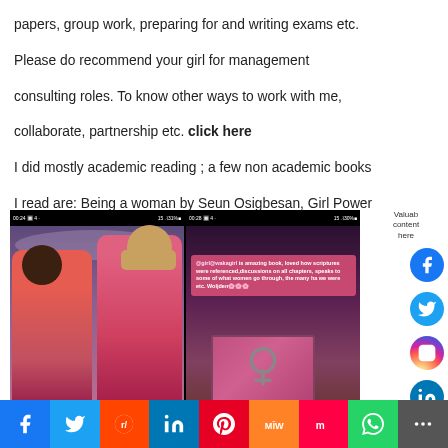papers, group work, preparing for and writing exams etc. Please do recommend your girl for management consulting roles. To know other ways to work with me, collaborate, partnership etc. click here
I did mostly academic reading ; a few non academic books I read are: Being a woman by Seun Osigbesan, Girl Power by Nancy Nsofor
[Figure (photo): Two screenshots side by side: left shows two women in pink clothing posing together, right shows a pink text overlay with a review of a book mentioning scriptures, discussions, women's experiences, with a book featuring a female symbol at the bottom]
Valuab content here
[Figure (other): Four circular social media icons (Facebook, Twitter, Instagram, LinkedIn) on the right sidebar]
Facebook | Twitter | Reddit | LinkedIn | Pinterest | MIW | Mix | WhatsApp | Share